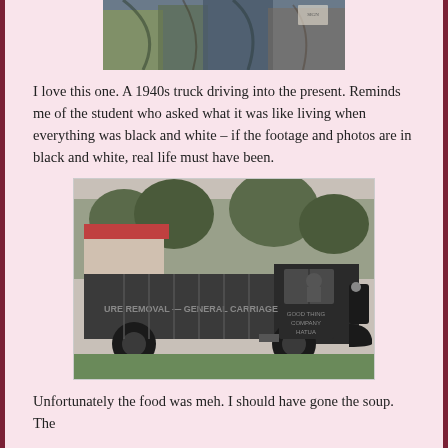[Figure (photo): Top portion of a mural or street art image, partially cropped, showing colorful abstract or figurative artwork on a wall.]
I love this one. A 1940s truck driving into the present. Reminds me of the student who asked what it was like living when everything was black and white – if the footage and photos are in black and white, real life must have been.
[Figure (photo): A black and white mural of a 1940s truck painted on the side of a building. The truck has text on the side reading 'URE REMOVAL – GENERAL CARRIAGE' and appears to be a realistic street art mural set against a background showing trees, a red-roofed building, and a grey sky.]
Unfortunately the food was meh. I should have gone the soup. The